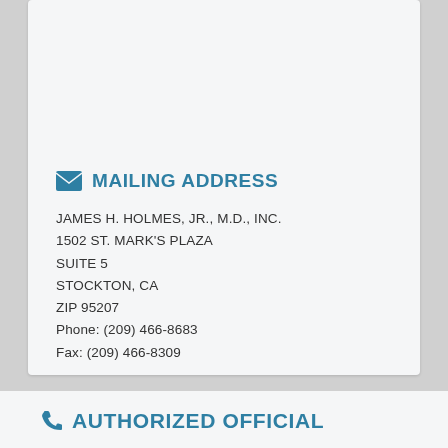MAILING ADDRESS
JAMES H. HOLMES, JR., M.D., INC.
1502 ST. MARK'S PLAZA
SUITE 5
STOCKTON, CA
ZIP 95207
Phone: (209) 466-8683
Fax: (209) 466-8309
AUTHORIZED OFFICIAL